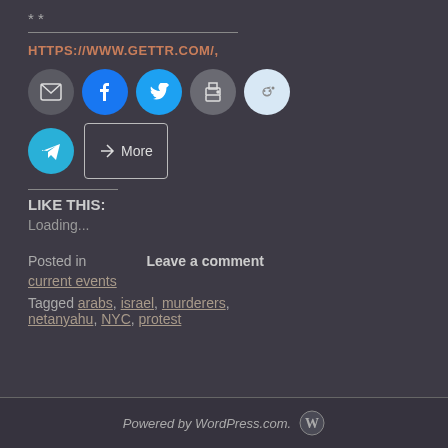* *
HTTPS://WWW.GETTR.COM/,
[Figure (infographic): Social share buttons: email (gray circle), facebook (blue circle), twitter (cyan circle), print (gray circle), reddit (light blue circle), telegram (cyan circle), and a More button]
LIKE THIS:
Loading...
Posted in   Leave a comment
current events
Tagged arabs, israel, murderers, netanyahu, NYC, protest
Powered by WordPress.com.